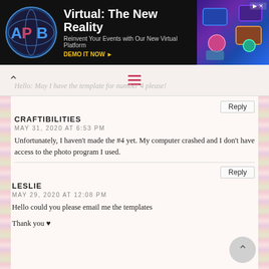[Figure (illustration): APB advertisement banner: 'Virtual: The New Reality - Reinvent Your Events with Our New Virtual Platform - DEMO IT NOW']
Hello: May I have the template for number 4 please!
Reply
CRAFTIBILITIES
MAY 31, 2020 AT 6:53 PM
Unfortunately, I haven't made the #4 yet. My computer crashed and I don't have access to the photo program I used.
Reply
LESLIE
MAY 29, 2020 AT 12:08 PM
Hello could you please email me the templates
Thank you ♥